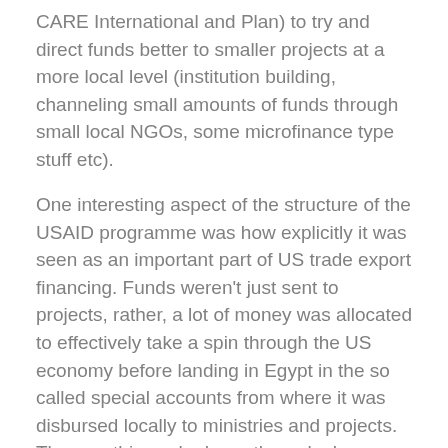CARE International and Plan) to try and direct funds better to smaller projects at a more local level (institution building, channeling small amounts of funds through small local NGOs, some microfinance type stuff etc).
One interesting aspect of the structure of the USAID programme was how explicitly it was seen as an important part of US trade export financing. Funds weren't just sent to projects, rather, a lot of money was allocated to effectively take a spin through the US economy before landing in Egypt in the so called special accounts from where it was disbursed locally to ministries and projects. The way this worked was through cheap export guarantees, which served to provide extremely low risk import finance to the Egyptian economy and export finance to US industry. If, for example, an Egyptian business wanted to make a large investment in plant, it could approach an Egyptian bank for finance. The Egyptian bank would organise a letter of credit to a US business which